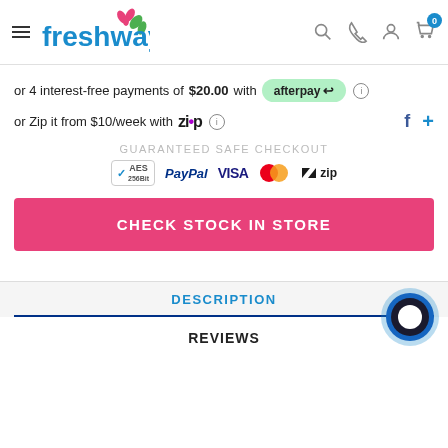[Figure (screenshot): Freshway website header with hamburger menu, Freshway logo (blue text with green leaf), search icon, phone icon, user icon, and shopping cart with 0 badge]
or 4 interest-free payments of $20.00 with afterpay ⓘ
or Zip it from $10/week with Zip ⓘ
GUARANTEED SAFE CHECKOUT
[Figure (infographic): Payment logos: AES 256bit, PayPal, VISA, Mastercard, zip]
CHECK STOCK IN STORE
DESCRIPTION
REVIEWS